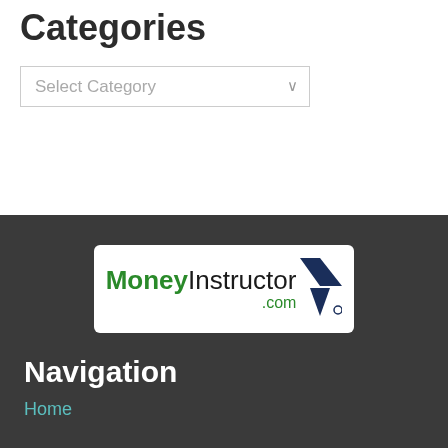Categories
Select Category
[Figure (logo): MoneyInstructor.com logo with green bold 'Money' text, black 'Instructor' text, green '.com', and a dark blue/navy arrow figure to the right]
Navigation
Home